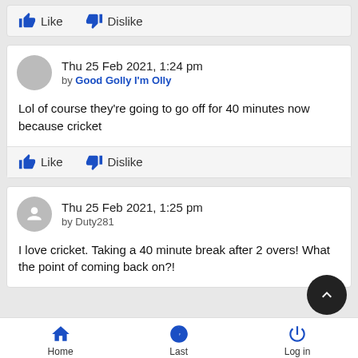Like   Dislike
Thu 25 Feb 2021, 1:24 pm by Good Golly I'm Olly
Lol of course they're going to go off for 40 minutes now because cricket
Like   Dislike
Thu 25 Feb 2021, 1:25 pm by Duty281
I love cricket. Taking a 40 minute break after 2 overs! What the point of coming back on?!
Home   Last   Log in